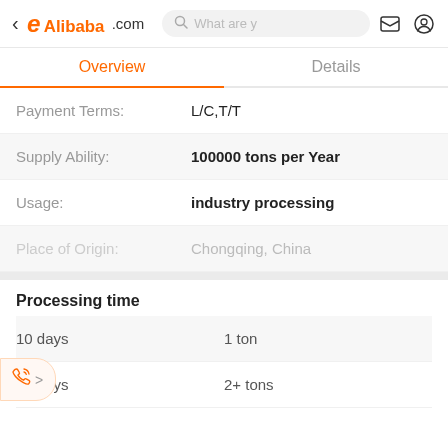[Figure (screenshot): Alibaba.com mobile app header with back arrow, Alibaba logo, search bar, message icon, and user icon]
Overview | Details
| Field | Value |
| --- | --- |
| Payment Terms: | L/C,T/T |
| Supply Ability: | 100000 tons per Year |
| Usage: | industry processing |
| Place of Origin: | Chongqing, China |
Processing time
| Time | Quantity |
| --- | --- |
| 10 days | 1 ton |
| 20 days | 2+ tons |